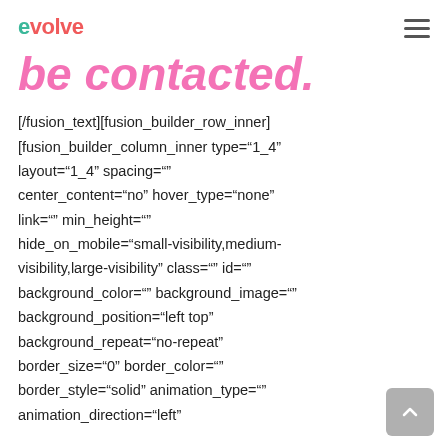evolve
be contacted.
[/fusion_text][fusion_builder_row_inner] [fusion_builder_column_inner type="1_4" layout="1_4" spacing="" center_content="no" hover_type="none" link="" min_height="" hide_on_mobile="small-visibility,medium-visibility,large-visibility" class="" id="" background_color="" background_image="" background_position="left top" background_repeat="no-repeat" border_size="0" border_color="" border_style="solid" animation_type="" animation_direction="left"